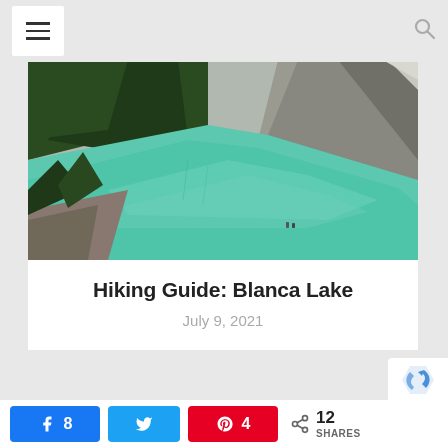Navigation bar with hamburger menu and search icon
[Figure (photo): Aerial/trail view of Blanca Lake, a glacial teal-green alpine lake surrounded by rocky slopes and evergreen forest in Washington state]
Hiking Guide: Blanca Lake
July 9, 2021
[Figure (other): reCAPTCHA badge logo in bottom right corner]
Social share bar: Facebook 8, Twitter (no count shown), Pinterest 4, Share 12 SHARES